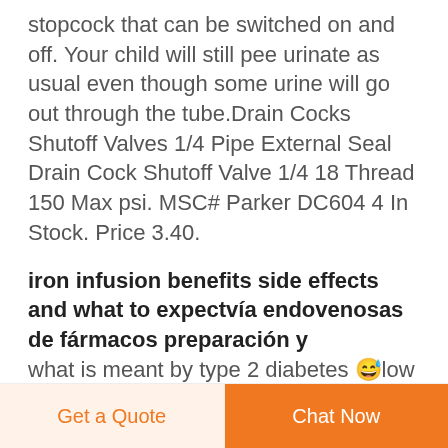stopcock that can be switched on and off. Your child will still pee urinate as usual even though some urine will go out through the tube.Drain Cocks Shutoff Valves 1/4 Pipe External Seal Drain Cock Shutoff Valve 1/4 18 Thread 150 Max psi. MSC# Parker DC604 4 In Stock. Price 3.40.
iron infusion benefits side effects and what to expectvía endovenosas de fármacos preparación y
what is meant by type 2 diabetes 😅low blood
Get a Quote | Chat Now